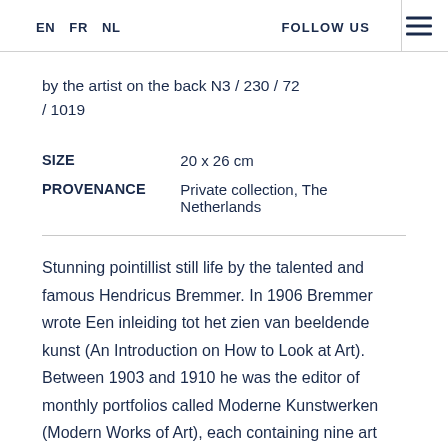EN  FR  NL    FOLLOW US
by the artist on the back N3 / 230 / 72 / 1019
| SIZE | 20 x 26 cm |
| PROVENANCE | Private collection, The Netherlands |
Stunning pointillist still life by the talented and famous Hendricus Bremmer. In 1906 Bremmer wrote Een inleiding tot het zien van beeldende kunst (An Introduction on How to Look at Art). Between 1903 and 1910 he was the editor of monthly portfolios called Moderne Kunstwerken (Modern Works of Art), each containing nine art